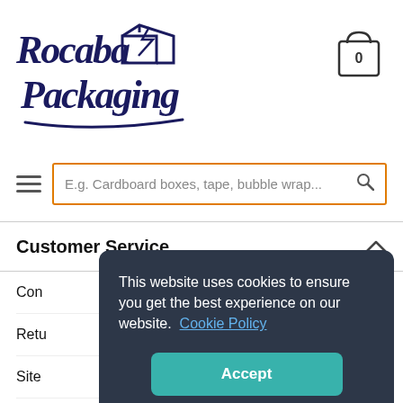[Figure (logo): Rocaba Packaging logo in dark navy italic script font with a decorative box graphic and swoosh underline]
[Figure (other): Shopping cart icon showing the number 0]
[Figure (other): Hamburger menu icon (three horizontal lines)]
E.g. Cardboard boxes, tape, bubble wrap...
Customer Service
Con...
Retu...
Site...
This website uses cookies to ensure you get the best experience on our website. Cookie Policy
Accept